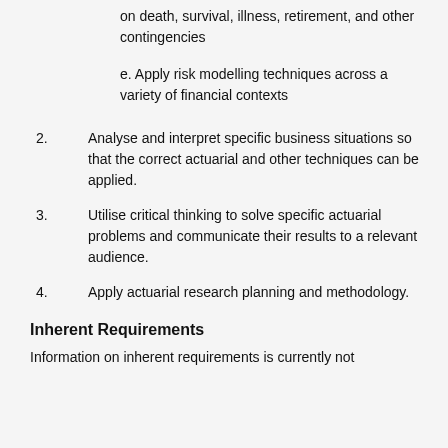on death, survival, illness, retirement, and other contingencies
e. Apply risk modelling techniques across a variety of financial contexts
2. Analyse and interpret specific business situations so that the correct actuarial and other techniques can be applied.
3. Utilise critical thinking to solve specific actuarial problems and communicate their results to a relevant audience.
4. Apply actuarial research planning and methodology.
Inherent Requirements
Information on inherent requirements is currently not